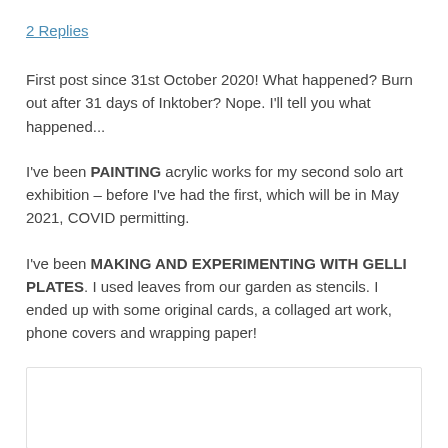2 Replies
First post since 31st October 2020! What happened? Burn out after 31 days of Inktober? Nope. I'll tell you what happened...
I've been PAINTING acrylic works for my second solo art exhibition – before I've had the first, which will be in May 2021, COVID permitting.
I've been MAKING AND EXPERIMENTING WITH GELLI PLATES. I used leaves from our garden as stencils. I ended up with some original cards, a collaged art work, phone covers and wrapping paper!
[Figure (other): White image box at the bottom of the page, bordered with light gray]